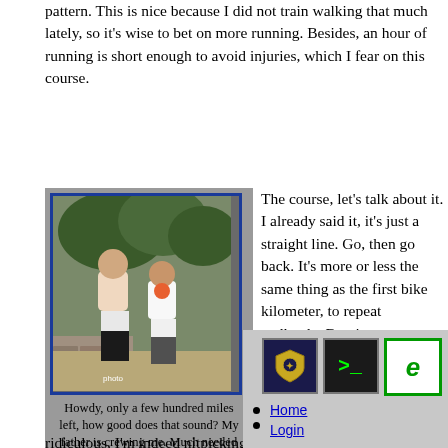pattern. This is nice because I did not train walking that much lately, so it's wise to bet on more running. Besides, an hour of running is short enough to avoid injuries, which I fear on this course.
[Figure (photo): Two men in running/athletic gear walking outdoors with trees and stone wall in background]
Howdy, only a few hundred miles left, how good does that sound? My father is crewing me. Much needed and appreciated.
The course, let's talk about it. I already said it, it's just a straight line. Go, then go back. It's more or less the same thing as the first bike kilometer, to repeat endlessly. But, important detail, it's a little sloppy. As in, when you start, it slightly falls on the left side, and when you come back the other, it slightly falls on the now opposite right side. Trailers and mountaineers, you are free to find this ridiculous, I'm indeed nitpicking. But do not underestimate the nuisance power of such an unbalance in the course. I asked Paul to tell Valérie, who is soon going to fly from ... to buy in any sport shoes shop something I could use... models come to my mind. Mizuno Wave Inspire, and others